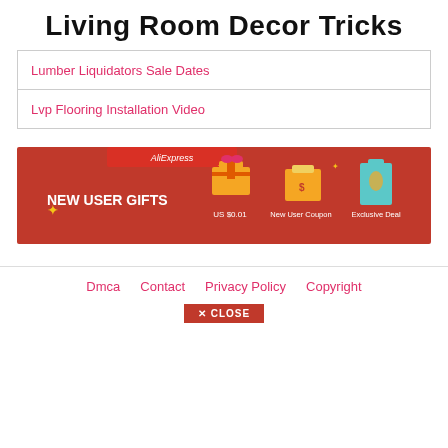Living Room Decor Tricks
Lumber Liquidators Sale Dates
Lvp Flooring Installation Video
[Figure (illustration): AliExpress 'NEW USER GIFTS' promotional banner with red background showing gift boxes, US $0.01 offer, New User Coupon, and Exclusive Deal items]
Dmca   Contact   Privacy Policy   Copyright
✕ CLOSE